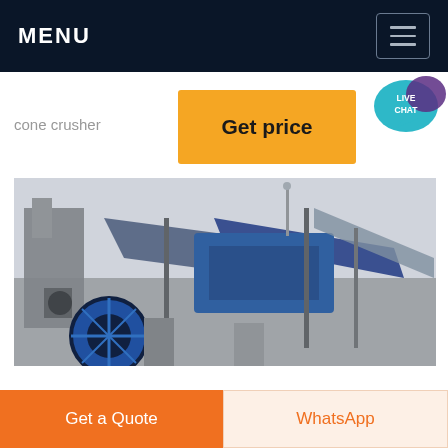MENU
cone crusher
Get price
[Figure (photo): Industrial cone crusher / mining machinery plant with conveyor belts, large blue flywheel, and structural steel framework at a quarry or processing facility.]
Get a Quote
WhatsApp